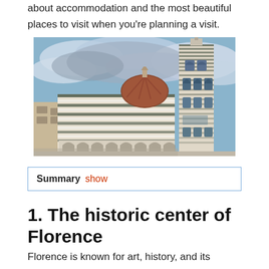about accommodation and the most beautiful places to visit when you're planning a visit.
[Figure (photo): HDR photograph of Florence cathedral Baptistery and Giotto's Campanile bell tower under dramatic cloudy sky]
Summary show
1. The historic center of Florence
Florence is known for art, history, and its impressive scenery